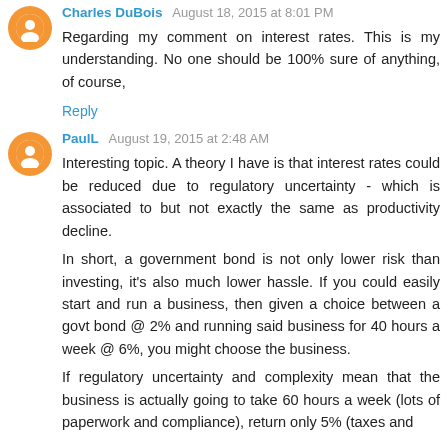Charles DuBois August 18, 2015 at 8:01 PM
Regarding my comment on interest rates. This is my understanding. No one should be 100% sure of anything, of course,
Reply
PaulL  August 19, 2015 at 2:48 AM
Interesting topic. A theory I have is that interest rates could be reduced due to regulatory uncertainty - which is associated to but not exactly the same as productivity decline.
In short, a government bond is not only lower risk than investing, it's also much lower hassle. If you could easily start and run a business, then given a choice between a govt bond @ 2% and running said business for 40 hours a week @ 6%, you might choose the business.
If regulatory uncertainty and complexity mean that the business is actually going to take 60 hours a week (lots of paperwork and compliance), return only 5% (taxes and